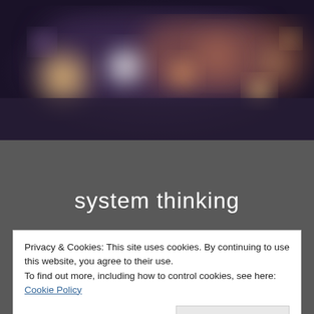[Figure (photo): Blurred bokeh background photo with warm orange and cool purple/blue tones, depicting out-of-focus city lights at night]
system thinking
Privacy & Cookies: This site uses cookies. By continuing to use this website, you agree to their use.
To find out more, including how to control cookies, see here: Cookie Policy
Close and accept